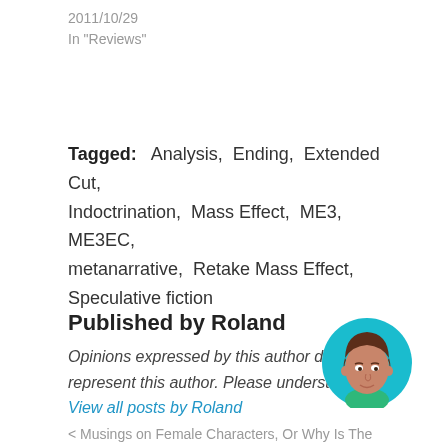2011/10/29
In "Reviews"
Tagged:   Analysis,  Ending,  Extended Cut,  Indoctrination,  Mass Effect,  ME3,  ME3EC,  metanarrative,  Retake Mass Effect,  Speculative fiction
Published by Roland
Opinions expressed by this author do not represent this author. Please understand. View all posts by Roland
[Figure (illustration): Circular avatar illustration of Roland, a cartoon-style drawing of a young man with brown hair wearing a green shirt, on a teal/cyan background circle]
< Musings on Female Characters, Or Why Is The